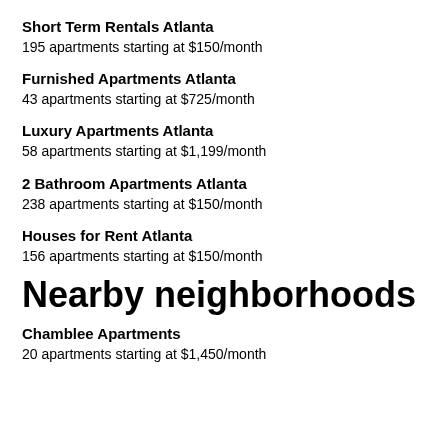Short Term Rentals Atlanta
195 apartments starting at $150/month
Furnished Apartments Atlanta
43 apartments starting at $725/month
Luxury Apartments Atlanta
58 apartments starting at $1,199/month
2 Bathroom Apartments Atlanta
238 apartments starting at $150/month
Houses for Rent Atlanta
156 apartments starting at $150/month
Nearby neighborhoods
Chamblee Apartments
20 apartments starting at $1,450/month